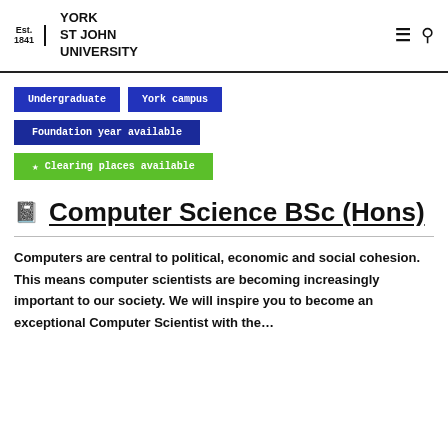Est. 1841 YORK ST JOHN UNIVERSITY
Undergraduate
York campus
Foundation year available
★ Clearing places available
Computer Science BSc (Hons)
Computers are central to political, economic and social cohesion. This means computer scientists are becoming increasingly important to our society. We will inspire you to become an exceptional Computer Scientist with the…